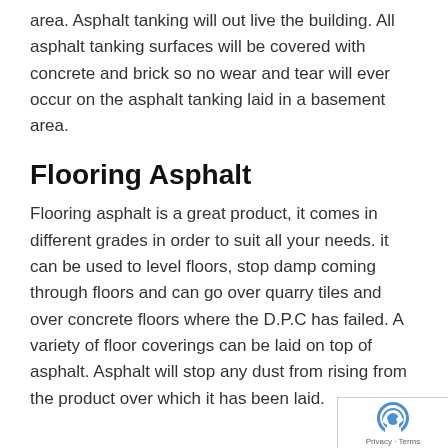area. Asphalt tanking will out live the building. All asphalt tanking surfaces will be covered with concrete and brick so no wear and tear will ever occur on the asphalt tanking laid in a basement area.
Flooring Asphalt
Flooring asphalt is a great product, it comes in different grades in order to suit all your needs. it can be used to level floors, stop damp coming through floors and can go over quarry tiles and over concrete floors where the D.P.C has failed. A variety of floor coverings can be laid on top of asphalt. Asphalt will stop any dust from rising from the product over which it has been laid.
Privacy · Terms